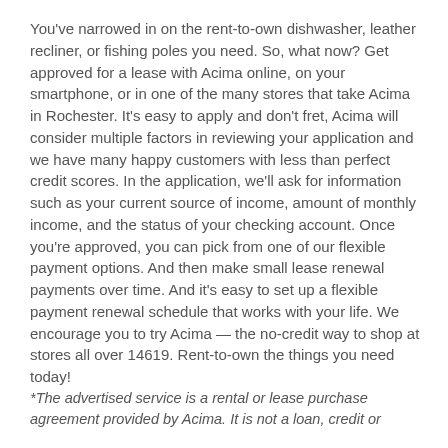You've narrowed in on the rent-to-own dishwasher, leather recliner, or fishing poles you need. So, what now? Get approved for a lease with Acima online, on your smartphone, or in one of the many stores that take Acima in Rochester. It's easy to apply and don't fret, Acima will consider multiple factors in reviewing your application and we have many happy customers with less than perfect credit scores. In the application, we'll ask for information such as your current source of income, amount of monthly income, and the status of your checking account. Once you're approved, you can pick from one of our flexible payment options. And then make small lease renewal payments over time. And it's easy to set up a flexible payment renewal schedule that works with your life. We encourage you to try Acima — the no-credit way to shop at stores all over 14619. Rent-to-own the things you need today!
*The advertised service is a rental or lease purchase agreement provided by Acima. It is not a loan, credit or